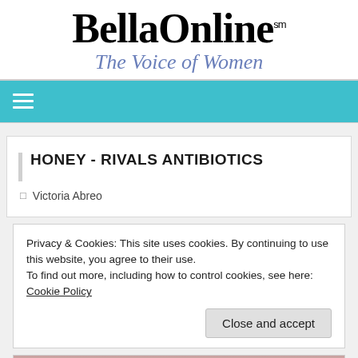[Figure (logo): BellaOnline logo with 'The Voice of Women' tagline in italic blue text]
[Figure (screenshot): Teal navigation bar with hamburger menu icon (three white horizontal lines)]
HONEY - RIVALS ANTIBIOTICS
Victoria Abreo
Privacy & Cookies: This site uses cookies. By continuing to use this website, you agree to their use.
To find out more, including how to control cookies, see here: Cookie Policy
Close and accept
[Figure (photo): Partial image of food/honey at the bottom of the page]